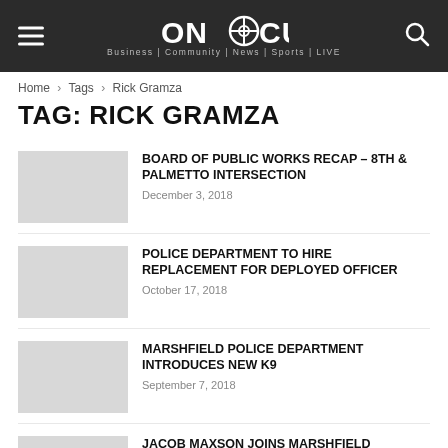ONFOCUS — Business | Community | News | Sports | LIVE
Home › Tags › Rick Gramza
TAG: RICK GRAMZA
BOARD OF PUBLIC WORKS RECAP – 8TH & PALMETTO INTERSECTION
December 3, 2018
POLICE DEPARTMENT TO HIRE REPLACEMENT FOR DEPLOYED OFFICER
October 17, 2018
MARSHFIELD POLICE DEPARTMENT INTRODUCES NEW K9
September 7, 2018
JACOB MAXSON JOINS MARSHFIELD